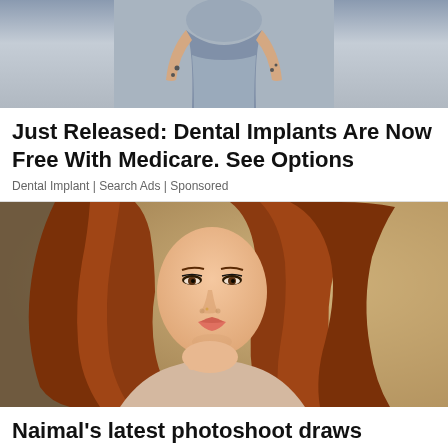[Figure (photo): Partial photo showing a woman's torso in a gray fitted top, cropped at the shoulders and waist, standing on a concrete background.]
Just Released: Dental Implants Are Now Free With Medicare. See Options
Dental Implant | Search Ads | Sponsored
[Figure (photo): Portrait photo of a young woman with long auburn/red wavy hair, wearing a light beige/pink top, resting her chin on her hand, smiling softly. Warm-toned background.]
Naimal's latest photoshoot draws severe